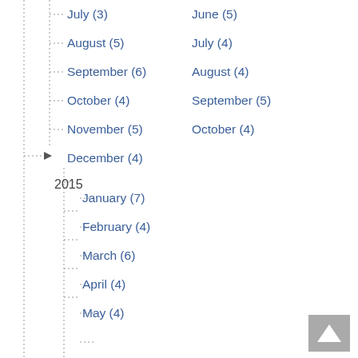July (3)
August (5)
September (6)
October (4)
November (5)
December (4)
2015
January (7)
February (4)
March (6)
April (4)
May (4)
June (5)
July (4)
August (4)
September (5)
October (4)